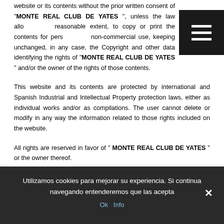website or its contents without the prior written consent of "MONTE REAL CLUB DE YATES", unless the law allows, to a reasonable extent, to copy or print the contents for personal and non-commercial use, keeping unchanged, in any case, the Copyright and other data identifying the rights of "MONTE REAL CLUB DE YATES" and/or the owner of the rights of those contents.
[Figure (other): Dark menu/hamburger button in top right corner]
This website and its contents are protected by international and Spanish Industrial and Intellectual Property protection laws, either as individual works and/or as compilations. The user cannot delete or modify in any way the information related to those rights included on the website.
All rights are reserved in favor of " MONTE REAL CLUB DE YATES " or the owner thereof.
Utilizamos cookies para mejorar su experiencia. Si continua navegando entenderemos que las acepta
Ok   Info